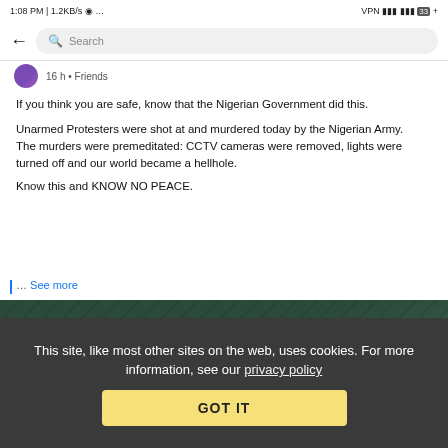[Figure (screenshot): Mobile phone status bar showing 1:08 PM | 1.2KB/s and battery/signal icons]
[Figure (screenshot): Facebook mobile app search bar with back arrow]
16 h • Friends
If you think you are safe, know that the Nigerian Government did this.

Unarmed Protesters were shot at and murdered today by the Nigerian Army.
The murders were premeditated: CCTV cameras were removed, lights were turned off and our world became a hellhole.

Know this and KNOW NO PEACE.
… See more
[Figure (photo): Dark greenish image, partial screenshot of a photo attached to the Facebook post]
This site, like most other sites on the web, uses cookies. For more information, see our privacy policy
GOT IT